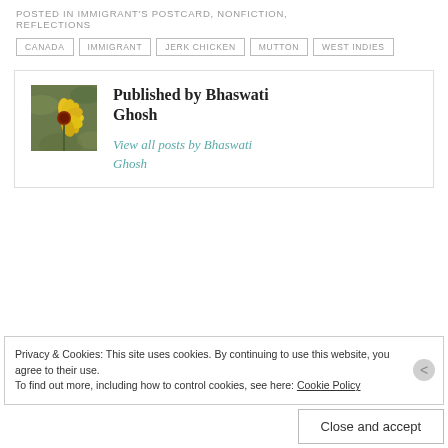POSTED IN IMMIGRANT'S POSTCARD, NONFICTION, REFLECTIONS
CANADA
IMMIGRANT
JERK CHICKEN
MUTTON
WEST INDIES
[Figure (photo): Avatar photo of Bhaswati Ghosh — a yellow flower with red center against green foliage]
Published by Bhaswati Ghosh
View all posts by Bhaswati Ghosh
Privacy & Cookies: This site uses cookies. By continuing to use this website, you agree to their use.
To find out more, including how to control cookies, see here: Cookie Policy
Close and accept